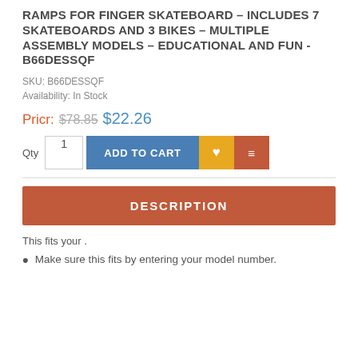RAMPS FOR FINGER SKATEBOARD – INCLUDES 7 SKATEBOARDS AND 3 BIKES – MULTIPLE ASSEMBLY MODELS – EDUCATIONAL AND FUN - B66DESSQF
SKU: B66DESSQF
Availability: In Stock
Pricr: $78.85 $22.26
Qty 1  ADD TO CART
DESCRIPTION
This fits your .
Make sure this fits by entering your model number.